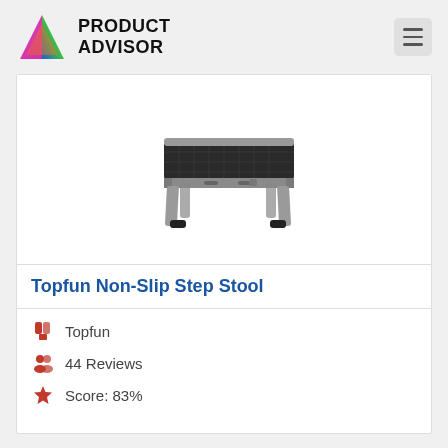[Figure (logo): Product Advisor logo with colorful triangle/mountain icon and bold text 'PRODUCT ADVISOR']
[Figure (photo): Topfun Non-Slip Step Stool product photo — a grey metal step stool with black non-slip top surface and four rubber-tipped legs]
Topfun Non-Slip Step Stool
Topfun
44 Reviews
Score: 83%